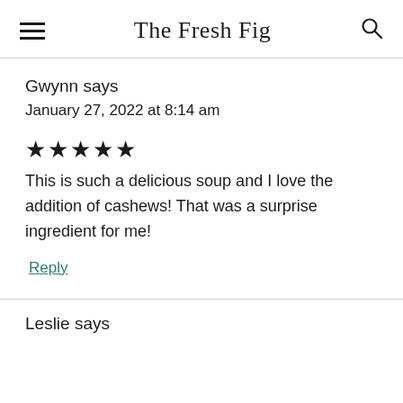The Fresh Fig
Gwynn says
January 27, 2022 at 8:14 am
★★★★★
This is such a delicious soup and I love the addition of cashews! That was a surprise ingredient for me!
Reply
Leslie says